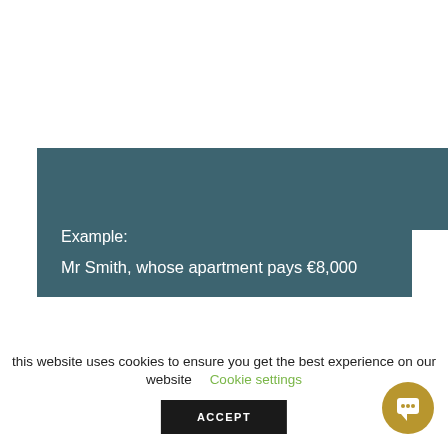[Figure (other): Teal/dark header bar with gold corner fold accent]
Example:

Mr Smith, whose apartment pays €8,000
this website uses cookies to ensure you get the best experience on our website  Cookie settings
ACCEPT